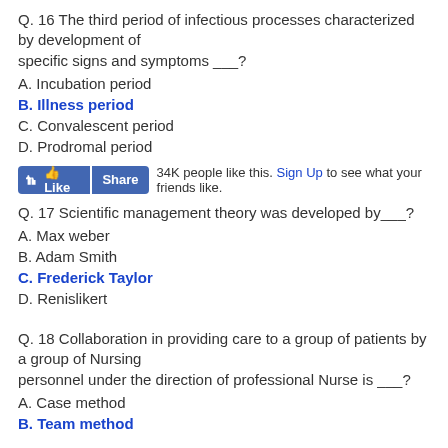Q. 16 The third period of infectious processes characterized by development of specific signs and symptoms ___?
A. Incubation period
B. Illness period
C. Convalescent period
D. Prodromal period
[Figure (screenshot): Facebook Like and Share buttons with text: 34K people like this. Sign Up to see what your friends like.]
Q. 17 Scientific management theory was developed by___?
A. Max weber
B. Adam Smith
C. Frederick Taylor
D. Renislikert
Q. 18 Collaboration in providing care to a group of patients by a group of Nursing personnel under the direction of professional Nurse is ___?
A. Case method
B. Team method